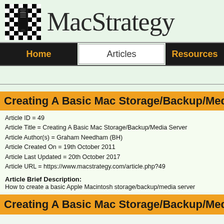[Figure (logo): MacStrategy website logo with checkered black-and-white pattern and a Mac Pro tower icon, beside the text 'MacStrategy' in large serif font]
Home | Articles | Resources
Creating A Basic Mac Storage/Backup/Media Server
Article ID = 49
Article Title = Creating A Basic Mac Storage/Backup/Media Server
Article Author(s) = Graham Needham (BH)
Article Created On = 19th October 2011
Article Last Updated = 20th October 2017
Article URL = https://www.macstrategy.com/article.php?49
Article Brief Description:
How to create a basic Apple Macintosh storage/backup/media server
Creating A Basic Mac Storage/Backup/Media Server